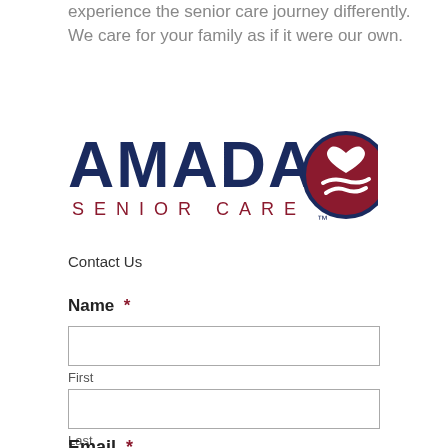experience the senior care journey differently. We care for your family as if it were our own.
[Figure (logo): Amada Senior Care logo — bold navy letters 'AMADA' with letterspaced 'SENIOR CARE' below, and a circular maroon emblem with a white heart and stylized hands]
Contact Us
Name *
First
Last
Email *